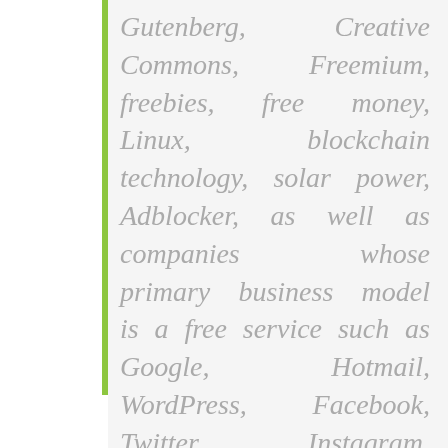Gutenberg, Creative Commons, Freemium, freebies, free money, Linux, blockchain technology, solar power, Adblocker, as well as companies whose primary business model is a free service such as Google, Hotmail, WordPress, Facebook, Twitter, Instagram, Snapchat, LinkedIn, Skype, Wikipedia, Pinterest etc.